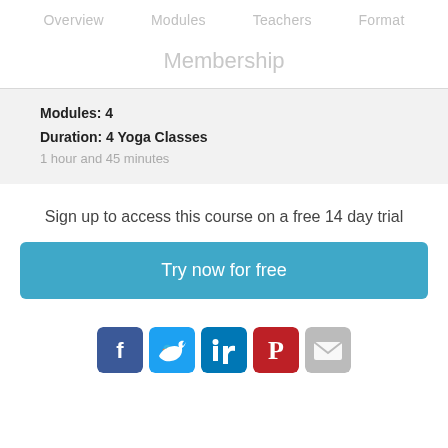Overview   Modules   Teachers   Format
Membership
Modules: 4
Duration: 4 Yoga Classes
1 hour and 45 minutes
Sign up to access this course on a free 14 day trial
Try now for free
[Figure (infographic): Social sharing icons row: Facebook, Twitter, LinkedIn, Pinterest, Email]